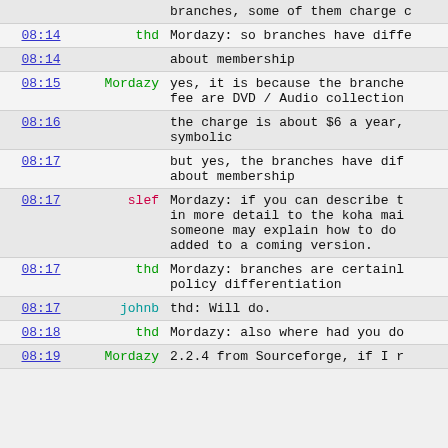| time | user | message |
| --- | --- | --- |
|  |  | branches, some of them charge c |
| 08:14 | thd | Mordazy: so branches have diffe |
| 08:14 |  | about membership |
| 08:15 | Mordazy | yes, it is because the branche fee are DVD / Audio collection |
| 08:16 |  | the charge is about $6 a year, symbolic |
| 08:17 |  | but yes, the branches have dif about membership |
| 08:17 | slef | Mordazy: if you can describe t in more detail to the koha mai someone may explain how to do added to a coming version. |
| 08:17 | thd | Mordazy: branches are certainl policy differentiation |
| 08:17 | johnb | thd:  Will do. |
| 08:18 | thd | Mordazy: also where had you do |
| 08:19 | Mordazy | 2.2.4 from Sourceforge, if I r |